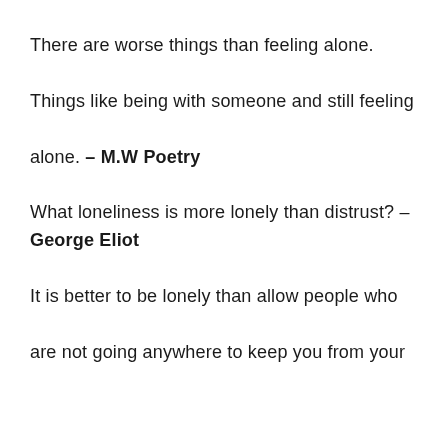There are worse things than feeling alone. Things like being with someone and still feeling alone. – M.W Poetry
What loneliness is more lonely than distrust? – George Eliot
It is better to be lonely than allow people who are not going anywhere to keep you from your